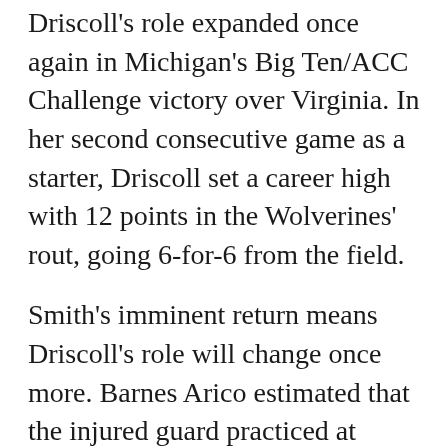Driscoll's role expanded once again in Michigan's Big Ten/ACC Challenge victory over Virginia. In her second consecutive game as a starter, Driscoll set a career high with 12 points in the Wolverines' rout, going 6-for-6 from the field.
Smith's imminent return means Driscoll's role will change once more. Barnes Arico estimated that the injured guard practiced at about 75 percent Monday, moving more than she had since her injury. But Barnes Arico says Smith is still in pain, and her status for Wednesday's game against Eastern Michigan is still undecided.
When Smith is fully healthy, Driscoll's